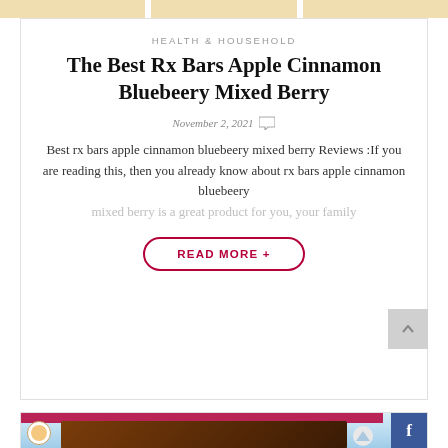[Top banner with product images]
HEALTH & HOUSEHOLD
The Best Rx Bars Apple Cinnamon Bluebeery Mixed Berry
November 2, 2021
Best rx bars apple cinnamon bluebeery mixed berry Reviews :If you are reading this, then you already know about rx bars apple cinnamon bluebeery mixed berry is a great product for you, your family
READ MORE +
[Figure (photo): Little Debbie Traditional snack cake box with blue winter mountain background, circle logo with girl, Facebook icon in bottom right corner]